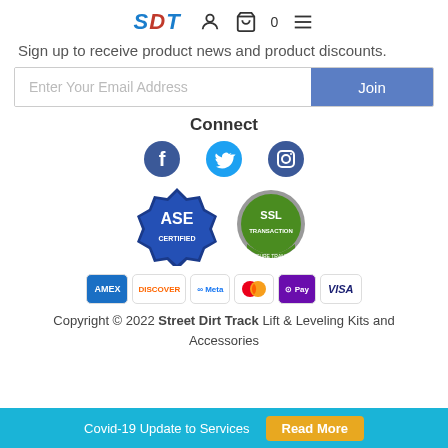SDT [logo + navigation icons: user, cart 0, menu]
Sign up to receive product news and product discounts.
Enter Your Email Address | Join
Connect
[Figure (illustration): Three social media icons: Facebook, Twitter, Instagram (circular blue icons)]
[Figure (illustration): ASE Certified badge (blue gear) and 100% Secure Transaction SSL badge (green shield)]
[Figure (illustration): Payment method icons: AMEX, DISCOVER, Meta, Mastercard, O Pay, VISA]
Copyright © 2022 Street Dirt Track Lift & Leveling Kits and Accessories
Covid-19 Update to Services  Read More